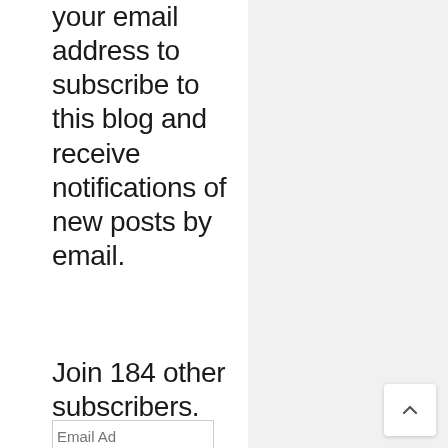your email address to subscribe to this blog and receive notifications of new posts by email.
Join 184 other subscribers.
Email Address